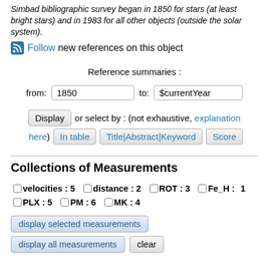Simbad bibliographic survey began in 1850 for stars (at least bright stars) and in 1983 for all other objects (outside the solar system).
Follow new references on this object
Reference summaries :
from: 1850  to: $currentYear
Display or select by : (not exhaustive, explanation here)  In table  Title|Abstract|Keyword  Score
Collections of Measurements
velocities : 5   distance : 2   ROT : 3   Fe_H : 1   PLX : 5   PM : 6   MK : 4
display selected measurements
display all measurements  clear